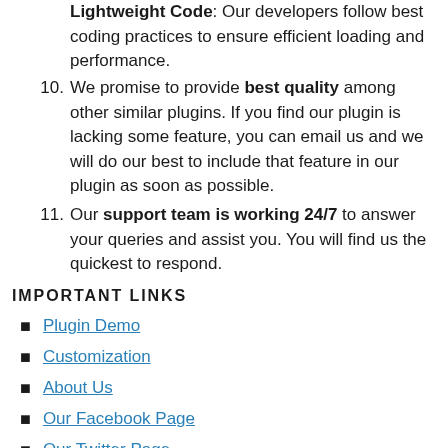9. Lightweight Code: Our developers follow best coding practices to ensure efficient loading and performance.
10. We promise to provide best quality among other similar plugins. If you find our plugin is lacking some feature, you can email us and we will do our best to include that feature in our plugin as soon as possible.
11. Our support team is working 24/7 to answer your queries and assist you. You will find us the quickest to respond.
IMPORTANT LINKS
Plugin Demo
Customization
About Us
Our Facebook Page
Our Twitter Page
Support Documentation